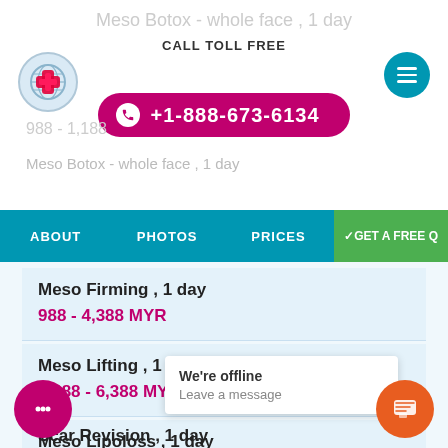Meso Botox - whole face , 1 day
CALL TOLL FREE
+1-888-673-6134
988 - 1,188 ...
Meso Botox - whole face , 1 day (faded)
ABOUT   PHOTOS   PRICES   ✓GET A FREE Q
Meso Firming , 1 day
988 - 4,388 MYR
Meso Lifting , 1 day
1,888 - 6,388 MYR
Meso Lipoloss , 1 day
8 - 3,588 MY...
We're offline
Leave a message
Scar Revision , 1 day